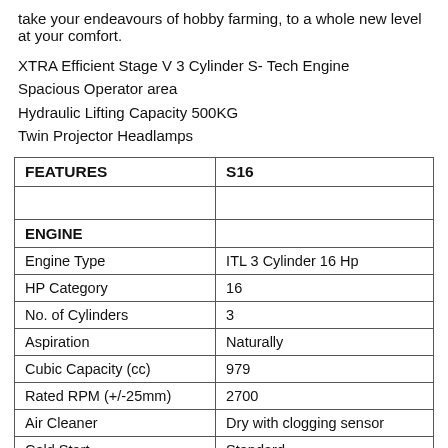take your endeavours of hobby farming, to a whole new level at your comfort.
XTRA Efficient Stage V 3 Cylinder S- Tech Engine
Spacious Operator area
Hydraulic Lifting Capacity 500KG
Twin Projector Headlamps
| FEATURES | S16 |
| --- | --- |
|  |  |
| ENGINE |  |
| Engine Type | ITL 3 Cylinder 16 Hp |
| HP Category | 16 |
| No. of Cylinders | 3 |
| Aspiration | Naturally |
| Cubic Capacity (cc) | 979 |
| Rated RPM (+/-25mm) | 2700 |
| Air Cleaner | Dry with clogging sensor |
| Cold Start | Standard |